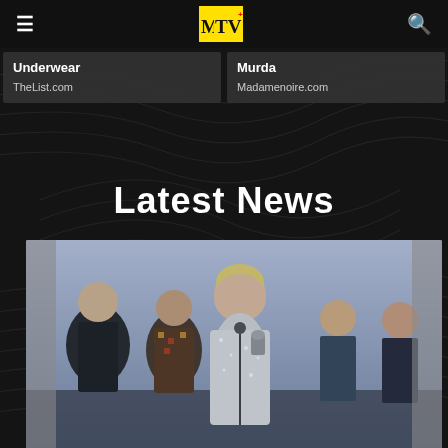MTV logo, navigation menu and search
Underwear
TheList.com
Murda
Madamenoire.com
Latest News
[Figure (photo): Taylor Swift and collaborators on stage at MTV VMAs, Taylor holding award at microphone, four others standing behind her]